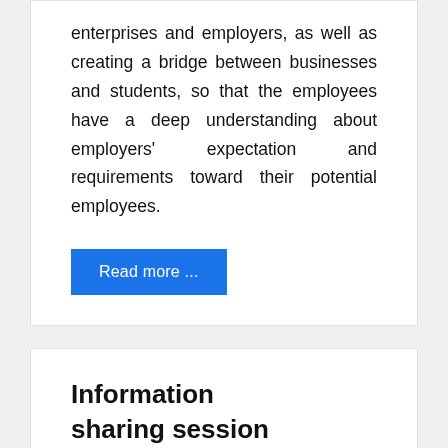enterprises and employers, as well as creating a bridge between businesses and students, so that the employees have a deep understanding about employers' expectation and requirements toward their potential employees.
Read more ...
Information sharing session on The U.S Government scholarship programs and American Culture